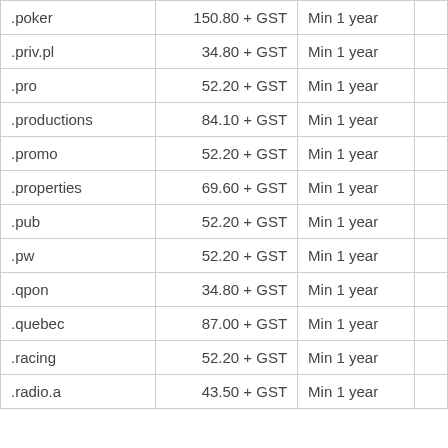| .poker | 150.80 + GST | Min 1 year |  |
| .priv.pl | 34.80 + GST | Min 1 year |  |
| .pro | 52.20 + GST | Min 1 year |  |
| .productions | 84.10 + GST | Min 1 year |  |
| .promo | 52.20 + GST | Min 1 year |  |
| .properties | 69.60 + GST | Min 1 year |  |
| .pub | 52.20 + GST | Min 1 year |  |
| .pw | 52.20 + GST | Min 1 year |  |
| .qpon | 34.80 + GST | Min 1 year |  |
| .quebec | 87.00 + GST | Min 1 year |  |
| .racing | 52.20 + GST | Min 1 year |  |
| .radio.a | 43.50 + GST | Min 1 year |  |